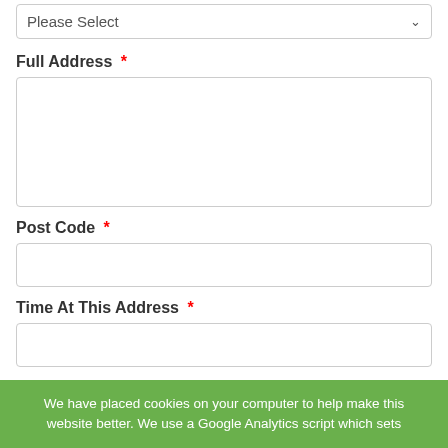Please Select
Full Address *
Post Code *
Time At This Address *
Previous Address (If Less Than 3 Years)
We have placed cookies on your computer to help make this website better. We use a Google Analytics script which sets